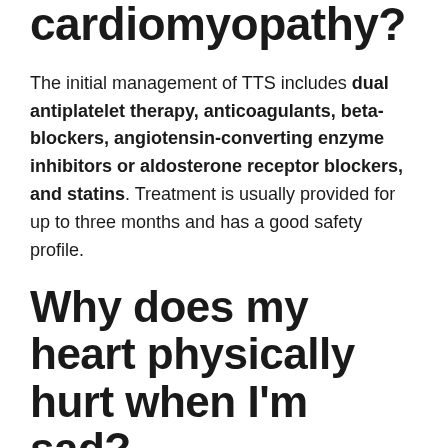cardiomyopathy?
The initial management of TTS includes dual antiplatelet therapy, anticoagulants, beta-blockers, angiotensin-converting enzyme inhibitors or aldosterone receptor blockers, and statins. Treatment is usually provided for up to three months and has a good safety profile.
Why does my heart physically hurt when I’m sad?
Stress from grief can flood the body